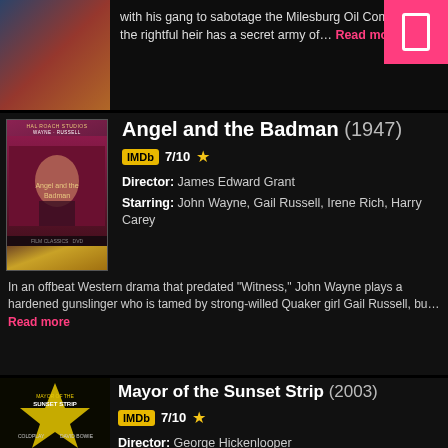with his gang to sabotage the Milesburg Oil Company, but the rightful heir has a secret army of… Read more
Angel and the Badman (1947)
IMDb 7/10 ★
Director: James Edward Grant
Starring: John Wayne, Gail Russell, Irene Rich, Harry Carey
In an offbeat Western drama that predated "Witness," John Wayne plays a hardened gunslinger who is tamed by strong-willed Quaker girl Gail Russell, bu… Read more
Mayor of the Sunset Strip (2003)
IMDb 7/10 ★
Director: George Hickenlooper
Starring: Beck , Cher , Coldplay , Rodney Bingenheimer,